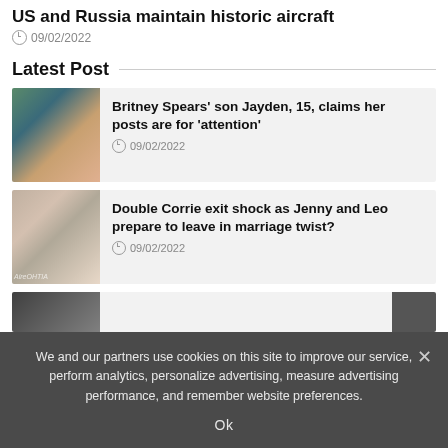US and Russia maintain historic aircraft
09/02/2022
Latest Post
Britney Spears' son Jayden, 15, claims her posts are for 'attention' — 09/02/2022
Double Corrie exit shock as Jenny and Leo prepare to leave in marriage twist? — 09/02/2022
We and our partners use cookies on this site to improve our service, perform analytics, personalize advertising, measure advertising performance, and remember website preferences.
Ok